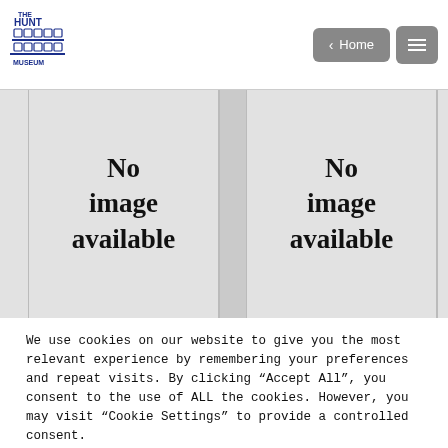[Figure (logo): The Hunt Museum logo with building illustration and text]
[Figure (screenshot): Two placeholder image tiles with bold text 'No image available' on grey backgrounds]
We use cookies on our website to give you the most relevant experience by remembering your preferences and repeat visits. By clicking “Accept All”, you consent to the use of ALL the cookies. However, you may visit “Cookie Settings” to provide a controlled consent.
Cookie Settings
Accept All